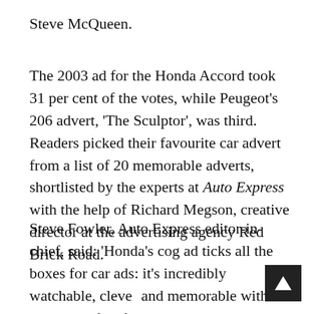Steve McQueen.
The 2003 ad for the Honda Accord took 31 per cent of the votes, while Peugeot's 206 advert, 'The Sculptor', was third. Readers picked their favourite car advert from a list of 20 memorable adverts, shortlisted by the experts at Auto Express with the help of Richard Megson, creative director at the advertising agency Red Brick Road.
Steve Fowler, Auto Express editor-in-chief, said: 'Honda's cog ad ticks all the boxes for car ads: it's incredibly watchable, cleve and memorable with a great soundtrack,